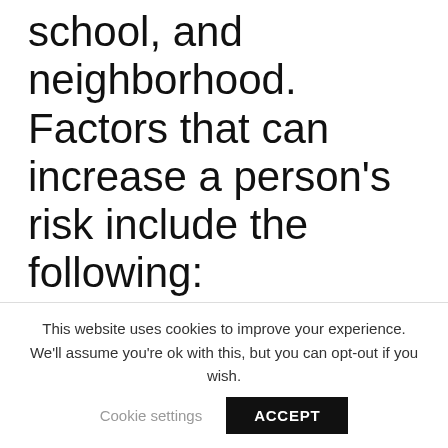school, and neighborhood. Factors that can increase a person's risk include the following:
Home and Family. The home environment, especially during childhood, is a very important factor. Parents or older family members who use drugs or misuse alcohol, or who break the law, can increase children's risk of future
This website uses cookies to improve your experience. We'll assume you're ok with this, but you can opt-out if you wish.